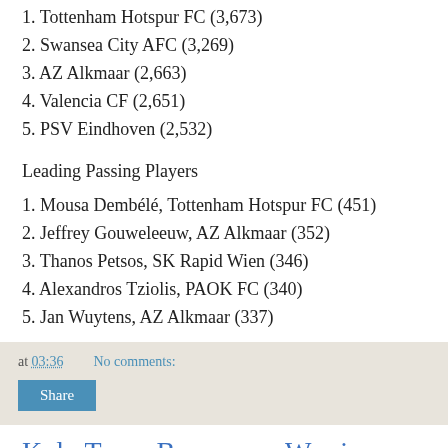1. Tottenham Hotspur FC (3,673)
2. Swansea City AFC (3,269)
3. AZ Alkmaar (2,663)
4. Valencia CF (2,651)
5. PSV Eindhoven (2,532)
Leading Passing Players
1. Mousa Dembélé, Tottenham Hotspur FC (451)
2. Jeffrey Gouweleeuw, AZ Alkmaar (352)
3. Thanos Petsos, SK Rapid Wien (346)
4. Alexandros Tziolis, PAOK FC (340)
5. Jan Wuytens, AZ Alkmaar (337)
at 03:36   No comments:   Share
Kolo Toure Becomes a Warrior